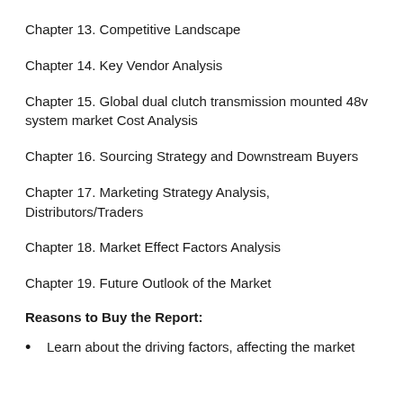Chapter 13. Competitive Landscape
Chapter 14. Key Vendor Analysis
Chapter 15. Global dual clutch transmission mounted 48v system market Cost Analysis
Chapter 16. Sourcing Strategy and Downstream Buyers
Chapter 17. Marketing Strategy Analysis, Distributors/Traders
Chapter 18. Market Effect Factors Analysis
Chapter 19. Future Outlook of the Market
Reasons to Buy the Report:
Learn about the driving factors, affecting the market